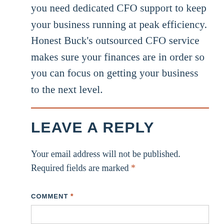you need dedicated CFO support to keep your business running at peak efficiency. Honest Buck's outsourced CFO service makes sure your finances are in order so you can focus on getting your business to the next level.
LEAVE A REPLY
Your email address will not be published. Required fields are marked *
COMMENT *